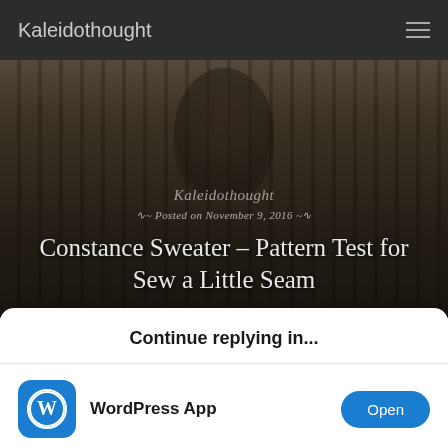Kaleidothought
[Figure (photo): Blog post hero image showing a child in front of vertical blinds/slats with dark overlay, titled 'Constance Sweater – Pattern Test for Sew a Little Seam', posted November 9, 2016]
Constance Sweater – Pattern Test for Sew a Little Seam
Continue replying in...
WordPress App
Safari